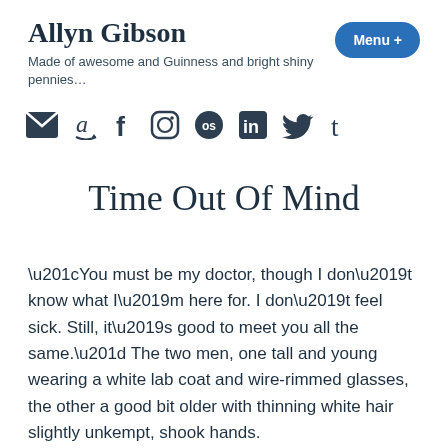Allyn Gibson
Made of awesome and Guinness and bright shiny pennies…
[Figure (other): Row of social media icons: email/envelope, Amazon, Facebook, Instagram, Last.fm, LinkedIn, Twitter, Tumblr]
Time Out Of Mind
“You must be my doctor, though I don’t know what I’m here for. I don’t feel sick. Still, it’s good to meet you all the same.” The two men, one tall and young wearing a white lab coat and wire-rimmed glasses, the other a good bit older with thinning white hair slightly unkempt, shook hands.
Doctor Robert Wilson smiled. “Please, Mike, have a